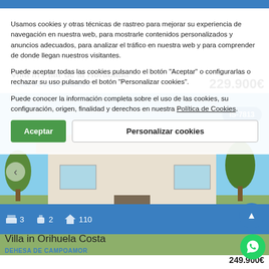Villa in Pilar de la Horadada
PILAR DE LA HORADADA
229.900€
[Figure (photo): Exterior photo of a villa property with garden and blue sky, showing IS-7813 reference badge]
Usamos cookies y otras técnicas de rastreo para mejorar su experiencia de navegación en nuestra web, para mostrarle contenidos personalizados y anuncios adecuados, para analizar el tráfico en nuestra web y para comprender de donde llegan nuestros visitantes.
Puede aceptar todas las cookies pulsando el botón "Aceptar" o configurarlas o rechazar su uso pulsando el botón "Personalizar cookies".
Puede conocer la información completa sobre el uso de las cookies, su configuración, origen, finalidad y derechos en nuestra Política de Cookies.
Aceptar
Personalizar cookies
Villa in Orihuela Costa
DEHESA DE CAMPOAMOR